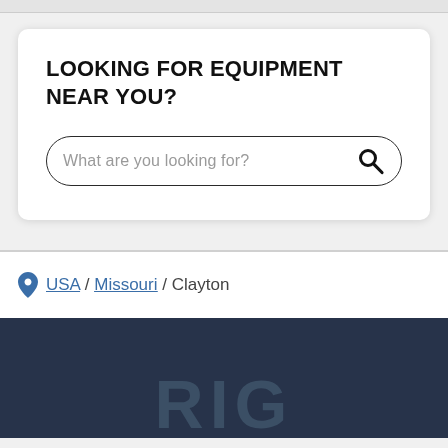LOOKING FOR EQUIPMENT NEAR YOU?
[Figure (screenshot): Search bar with placeholder text 'What are you looking for?' and a search icon on the right]
USA / Missouri / Clayton
[Figure (logo): Partial dark footer with large partially visible 'RIG' or similar logo text in dark blue-gray]